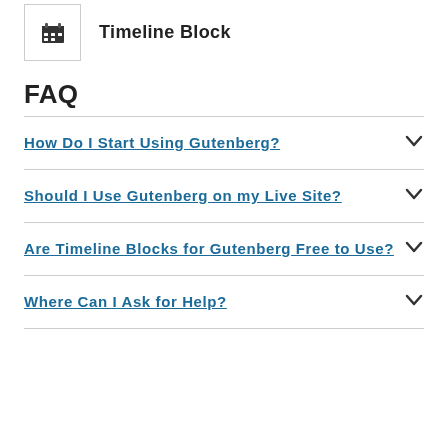[Figure (illustration): Icon box with a calendar/timeline icon next to the label 'Timeline Block']
FAQ
How Do I Start Using Gutenberg?
Should I Use Gutenberg on my Live Site?
Are Timeline Blocks for Gutenberg Free to Use?
Where Can I Ask for Help?